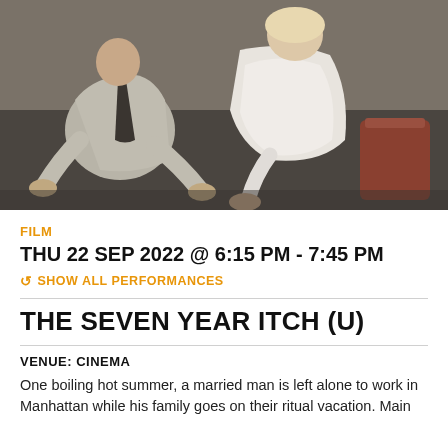[Figure (photo): Black and white film still showing a man in a light suit and dark tie crouching on the floor, and a woman in a white dress sitting/crouching beside him on a dark floor surface.]
FILM
THU 22 SEP 2022 @ 6:15 PM - 7:45 PM
SHOW ALL PERFORMANCES
THE SEVEN YEAR ITCH (U)
VENUE: CINEMA
One boiling hot summer, a married man is left alone to work in Manhattan while his family goes on their ritual vacation. Main